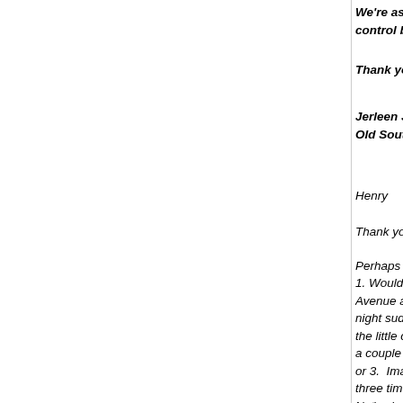We're asking anybody who reads this to st... control before people decide to do it thems...
Thank you for your anticipated patience an...
Jerleen Justus, Resident/President
Old South Side Community Coalition
Henry
Thank you for your verification and support.
Perhaps Sadie and others should step back a... 1. Would be to imagine that she and her little d... Avenue and without warning one of those big... night suddenly rammed into her car. 2. Imag... the little car that was rammed by the big RTA... a couple of weeks ago and she ended up inju... or 3. Imagine that she was recovering from op... three times a week for hours of dialysis treatm... replacement - and then arrive home to find the... blocks away and having to sit in her car on a b... she could make it home and and lay her pain...
Not only would Ms. Sadie's participation in the...